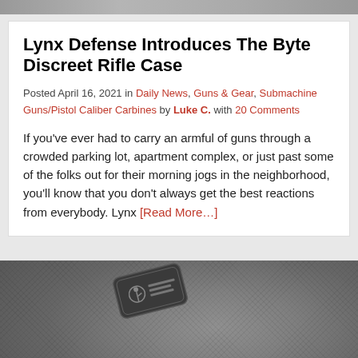[Figure (photo): Cropped top portion of an image showing a background scene, partially visible at the very top of the page]
Lynx Defense Introduces The Byte Discreet Rifle Case
Posted April 16, 2021 in Daily News, Guns & Gear, Submachine Guns/Pistol Caliber Carbines by Luke C. with 20 Comments
If you've ever had to carry an armful of guns through a crowded parking lot, apartment complex, or just past some of the folks out for their morning jogs in the neighborhood, you'll know that you don't always get the best reactions from everybody. Lynx [Read More…]
[Figure (photo): Close-up photo of a gray fabric material (likely a rifle case) with a dark embossed brand patch/logo visible. A white panel is partially visible at the bottom, and a reCAPTCHA badge appears in the bottom right corner.]